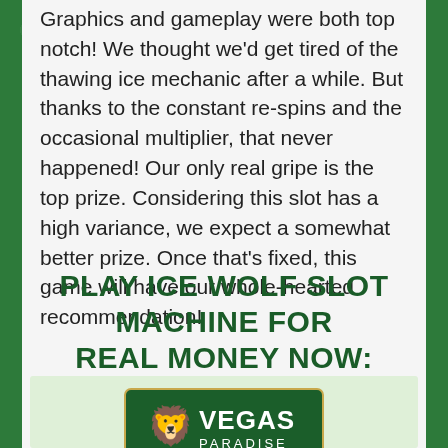Graphics and gameplay were both top notch! We thought we'd get tired of the thawing ice mechanic after a while. But thanks to the constant re-spins and the occasional multiplier, that never happened! Our only real gripe is the top prize. Considering this slot has a high variance, we expect a somewhat better prize. Once that's fixed, this game will have our whole-hearted recommendation!
PLAY ICE WOLF SLOT MACHINE FOR REAL MONEY NOW:
[Figure (logo): Vegas Paradise casino logo — dark green background with gold lion and VEGAS PARADISE text, with a green upward arrow below it and '100 UP TO' text beneath]